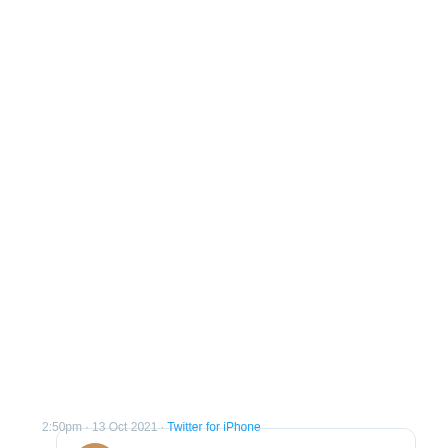[Figure (screenshot): Screenshot of a tweet by BONY (@JonnyBones) reading: 'My life wasn't always great man, being molested as a child, losing a parent and sibling to disease at a young age. It goes on and on man. I got things I need to deal with.' with a quoted tweet marked 'This Tweet is unavailable'. Footer shows '2:50pm · 13 Oct 2021 · Twitter for iPhone'.]